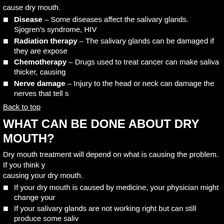cause dry mouth.
Disease – Some diseases affect the salivary glands. Sjogren's syndrome, HIV
Radiation therapy – The salivary glands can be damaged if they are expose
Chemotherapy – Drugs used to treat cancer can make saliva thicker, causing
Nerve damage – Injury to the head or neck can damage the nerves that tell s
Back to top
WHAT CAN BE DONE ABOUT DRY MOUTH?
Dry mouth treatment will depend on what is causing the problem. If you think y causing your dry mouth.
If your dry mouth is caused by medicine, your physician might change your
If your salivary glands are not working right but can still produce some saliv
Your physician or dentist might suggest that you use artificial saliva to keep
Back to top
WHAT CAN I DO?
Sip water or sugarless drinks often.
Avoid drinks with caffeine, such as coffee, tea, and some sodas. Caffeine can